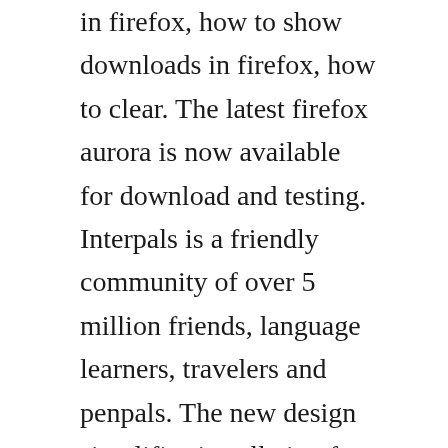in firefox, how to show downloads in firefox, how to clear. The latest firefox aurora is now available for download and testing. Interpals is a friendly community of over 5 million friends, language learners, travelers and penpals. The new design simplifies installation for featured addons to just one click and uses clean images and text to quickly orient you as you explore firefox. Welcome to the shop lc family where our purpose is to deliver joy daily, direct to you, 247365.
It is designed to showcase the more